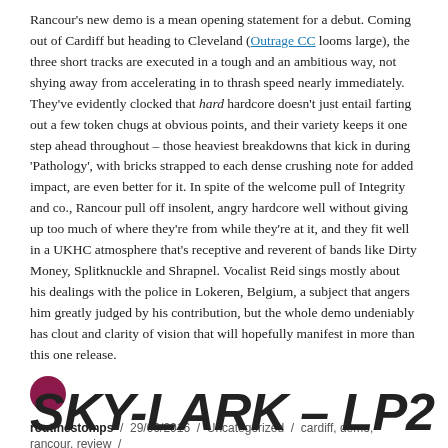Rancour's new demo is a mean opening statement for a debut. Coming out of Cardiff but heading to Cleveland (Outrage CC looms large), the three short tracks are executed in a tough and an ambitious way, not shying away from accelerating in to thrash speed nearly immediately. They've evidently clocked that hard hardcore doesn't just entail farting out a few token chugs at obvious points, and their variety keeps it one step ahead throughout – those heaviest breakdowns that kick in during 'Pathology', with bricks strapped to each dense crushing note for added impact, are even better for it. In spite of the welcome pull of Integrity and co., Rancour pull off insolent, angry hardcore well without giving up too much of where they're from while they're at it, and they fit well in a UKHC atmosphere that's receptive and reverent of bands like Dirty Money, Splitknuckle and Shrapnel. Vocalist Reid sings mostly about his dealings with the police in Lokeren, Belgium, a subject that angers him greatly judged by his contribution, but the whole demo undeniably has clout and clarity of vision that will hopefully manifest in more than this one release.
routinestomps / 29/06/2016 / Uncategorized / cardiff, demo, rancour, review / Leave a comment
SKY-LARK – LP2